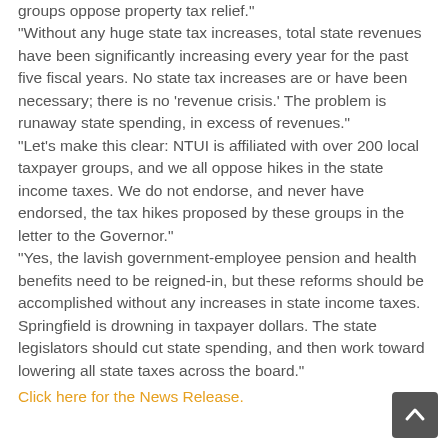groups oppose property tax relief."
"Without any huge state tax increases, total state revenues have been significantly increasing every year for the past five fiscal years. No state tax increases are or have been necessary; there is no 'revenue crisis.' The problem is runaway state spending, in excess of revenues."
"Let’s make this clear: NTUI is affiliated with over 200 local taxpayer groups, and we all oppose hikes in the state income taxes. We do not endorse, and never have endorsed, the tax hikes proposed by these groups in the letter to the Governor."
"Yes, the lavish government-employee pension and health benefits need to be reigned-in, but these reforms should be accomplished without any increases in state income taxes. Springfield is drowning in taxpayer dollars. The state legislators should cut state spending, and then work toward lowering all state taxes across the board."
Click here for the News Release.